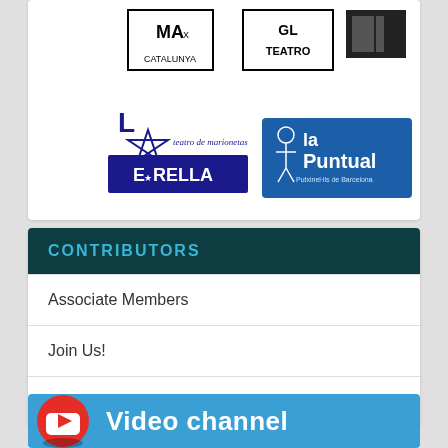[Figure (logo): Top box with logos: MAX Catalunya, GL Teatro, and a third logo (top row); La Estrella teatro de marionetas and La Puntual Putxinel-lis de Barcelona (bottom row)]
CONTRIBUTORS
Associate Members
Join Us!
Sponsors
[Figure (infographic): Blue banner with YouTube play button icon and text 'Video channel']